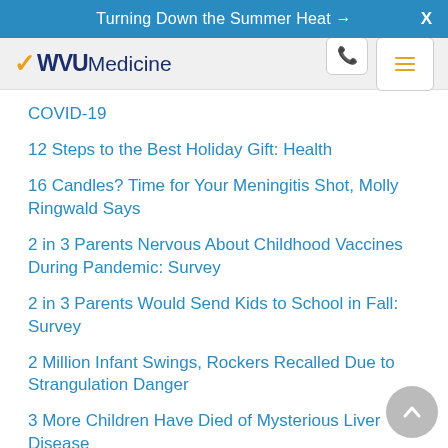Turning Down the Summer Heat →
[Figure (logo): WVU Medicine logo with golden flying WV and nav icons]
COVID-19
12 Steps to the Best Holiday Gift: Health
16 Candles? Time for Your Meningitis Shot, Molly Ringwald Says
2 in 3 Parents Nervous About Childhood Vaccines During Pandemic: Survey
2 in 3 Parents Would Send Kids to School in Fall: Survey
2 Million Infant Swings, Rockers Recalled Due to Strangulation Danger
3 More Children Have Died of Mysterious Liver Disease
3 Steps Could Nearly Eliminate COVID Infections on College Campuses: Study
3-Dose Pfizer COVID Vaccine Spurs Strong Response in Youngest Kids